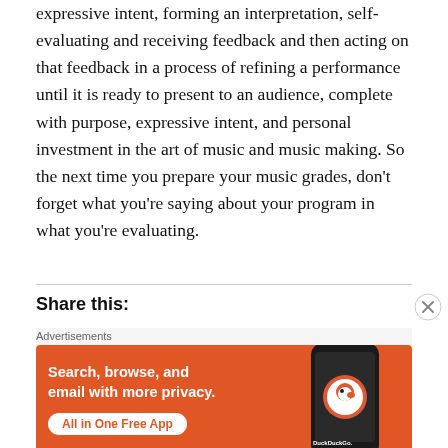expressive intent, forming an interpretation, self-evaluating and receiving feedback and then acting on that feedback in a process of refining a performance until it is ready to present to an audience, complete with purpose, expressive intent, and personal investment in the art of music and music making. So the next time you prepare your music grades, don't forget what you're saying about your program in what you're evaluating.
Share this:
[Figure (other): DuckDuckGo advertisement banner with orange background. Text reads: 'Search, browse, and email with more privacy. All in One Free App' with DuckDuckGo logo and a phone graphic.]